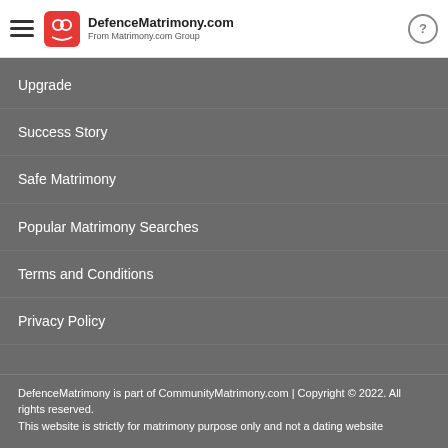DefenceMatrimony.com From Matrimony.com Group
Upgrade
Success Story
Safe Matrimony
Popular Matrimony Searches
Terms and Conditions
Privacy Policy
DefenceMatrimony is part of CommunityMatrimony.com | Copyright © 2022. All rights reserved.
This website is strictly for matrimony purpose only and not a dating website